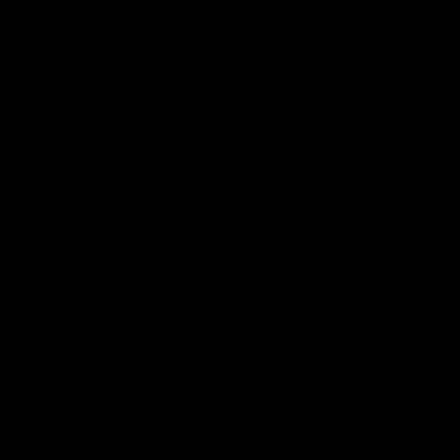never back down from a fight.  Tracy cuts wrestlers and fans skins alike with his words. Tracy has been in WWE, WCW illustrious career.  He is one of the most wrestlers in the sport today.
Moondog Cujo
One of the famous Moondog's. The Mo known for wrestling in blue jeans, sport blond hair and beards and carrying anim around with them (which they would ch as weapons) Cujo would be honored w Professional Wrestling Illustrated 1993 in 1993 when they thrilled fans with the Jerry Lawler and Jeff Jarrett.
Show will be at The Lincoln's Challeng Gymnasium
and the address is 118 E. Borman Ave
11 Awesome matches!
Jason Vendetta vs. DaCobra in a ladd
Cecil Cerveza & Cowboy Bob Orton vs Danny